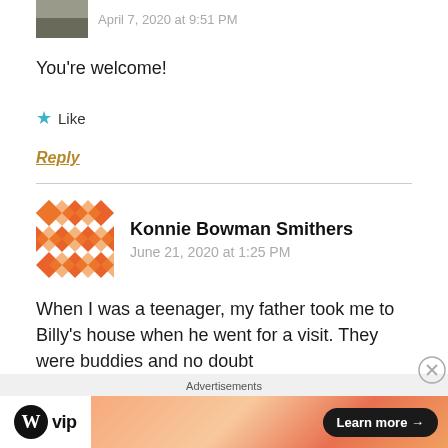April 7, 2020 at 9:51 PM
You're welcome!
★ Like
Reply
Konnie Bowman Smithers
June 21, 2020 at 1:25 PM
When I was a teenager, my father took me to Billy's house when he went for a visit. They were buddies and no doubt
Advertisements
[Figure (logo): WordPress VIP logo with circle W icon and 'vip' text]
[Figure (infographic): Orange gradient advertisement banner with Learn more button]